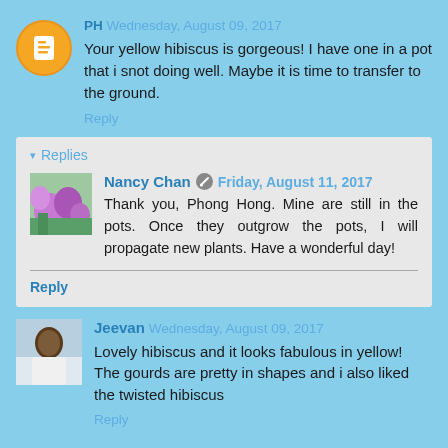PH Wednesday, August 09, 2017
Your yellow hibiscus is gorgeous! I have one in a pot that i snot doing well. Maybe it is time to transfer to the ground.
Reply
Replies
Nancy Chan Friday, August 11, 2017
Thank you, Phong Hong. Mine are still in the pots. Once they outgrow the pots, I will propagate new plants. Have a wonderful day!
Reply
[Figure (photo): Avatar of Jeevan - a person in white shirt]
Jeevan Wednesday, August 09, 2017
Lovely hibiscus and it looks fabulous in yellow! The gourds are pretty in shapes and i also liked the twisted hibiscus
Reply